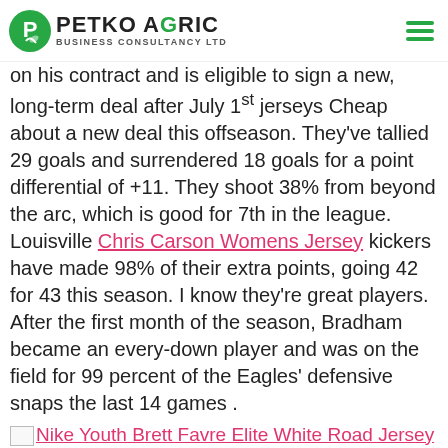PETKO AGRIC BUSINESS CONSULTANCY LTD
on his contract and is eligible to sign a new, long-term deal after July 1st jerseys Cheap about a new deal this offseason. They've tallied 29 goals and surrendered 18 goals for a point differential of +11. They shoot 38% from beyond the arc, which is good for 7th in the league. Louisville Chris Carson Womens Jersey kickers have made 98% of their extra points, going 42 for 43 this season. I know they're great players. After the first month of the season, Bradham became an every-down player and was on the field for 99 percent of the Eagles' defensive snaps the last 14 games .
Nike Youth Brett Favre Elite White Road Jersey - Atlanta Falcons NFL #4 Vapor Untouchable
But, when I see this enthusiasm, I just can't help but feel a little like Dr. • This might come across as harsh, come across as the musings of a disgruntled former player, but Rod Woodson is not one of those. Here's everything you need to know ahead of this clash of Western Conference powers. is being ripped off by the Europeans as well as China. The last